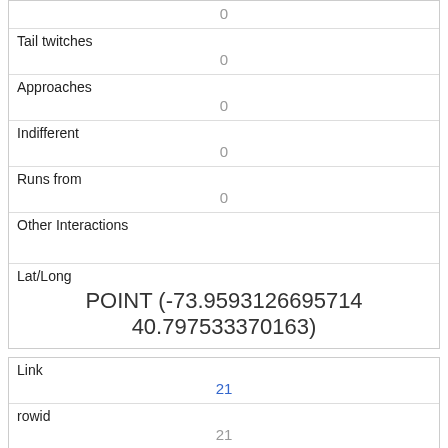| 0 |
| Tail twitches | 0 |
| Approaches | 0 |
| Indifferent | 0 |
| Runs from | 0 |
| Other Interactions |  |
| Lat/Long | POINT (-73.9593126695714 40.797533370163) |
| Link | 21 |
| rowid | 21 |
| longitude | -73.9703781726172 |
| latitude |  |